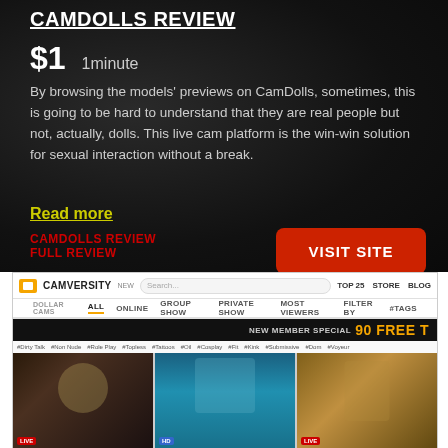CAMDOLLS REVIEW
$1   1minute
By browsing the models' previews on CamDolls, sometimes, this is going to be hard to understand that they are real people but not, actually, dolls. This live cam platform is the win-win solution for sexual interaction without a break.
Read more
CAMDOLLS REVIEW
FULL REVIEW
VISIT SITE
[Figure (screenshot): Screenshot of Camversity website showing navigation bar with TOP 25, STORE, BLOG links, category tabs (ALL, ONLINE, GROUP SHOW, PRIVATE SHOW, MOST VIEWERS, FILTER BY, #TAGS), a NEW MEMBER SPECIAL 90 FREE T banner, hashtag tags, and three live model preview thumbnails.]